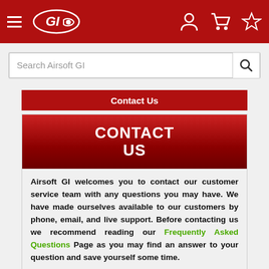[Figure (screenshot): Airsoft GI website navigation bar with hamburger menu, GI logo, user account icon, shopping cart icon, and favorites star icon on red background]
[Figure (screenshot): Search bar with placeholder text 'Search Airsoft GI' and search magnifying glass button]
Contact Us
CONTACT US
Airsoft GI welcomes you to contact our customer service team with any questions you may have. We have made ourselves available to our customers by phone, email, and live support. Before contacting us we recommend reading our Frequently Asked Questions Page as you may find an answer to your question and save yourself some time.
RETAIL STORE